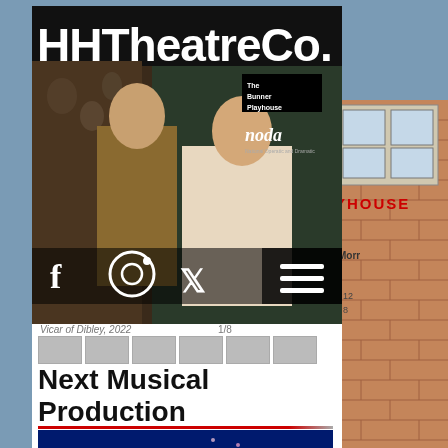[Figure (screenshot): HHTheatreCo website screenshot showing a theatre company website with hero image of two actors from 'Vicar of Dibley 2022', social media icons (Facebook, Instagram, Twitter), hamburger menu, The Bunner Playhouse and noda badges, and image carousel showing 1/8]
Vicar of Dibley, 2022
1/8
Next Musical Production
[Figure (screenshot): Anything Goes musical production promotional image with blue background and fireworks, showing show title 'ANYTHING GOES' in bold white letters]